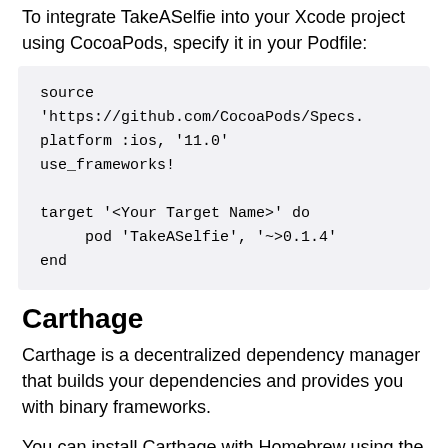To integrate TakeASelfie into your Xcode project using CocoaPods, specify it in your Podfile:
source 'https://github.com/CocoaPods/Specs.
platform :ios, '11.0'
use_frameworks!

target '<Your Target Name>' do
    pod 'TakeASelfie', '~>0.1.4'
end
Carthage
Carthage is a decentralized dependency manager that builds your dependencies and provides you with binary frameworks.
You can install Carthage with Homebrew using the following command: